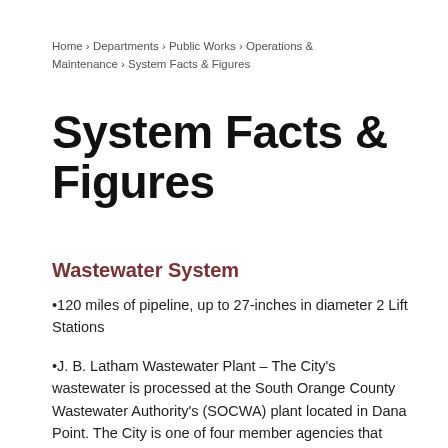Home › Departments › Public Works › Operations & Maintenance › System Facts & Figures
System Facts & Figures
Wastewater System
•120 miles of pipeline, up to 27-inches in diameter 2 Lift Stations
•J. B. Latham Wastewater Plant – The City's wastewater is processed at the South Orange County Wastewater Authority's (SOCWA) plant located in Dana Point. The City is one of four member agencies that own capacity.